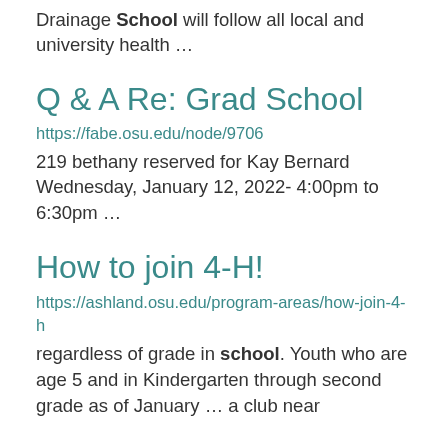Drainage School will follow all local and university health ...
Q & A Re: Grad School
https://fabe.osu.edu/node/9706
219 bethany reserved for Kay Bernard Wednesday, January 12, 2022- 4:00pm to 6:30pm ...
How to join 4-H!
https://ashland.osu.edu/program-areas/how-join-4-h
regardless of grade in school. Youth who are age 5 and in Kindergarten through second grade as of January ... a club near you along ... For more information with